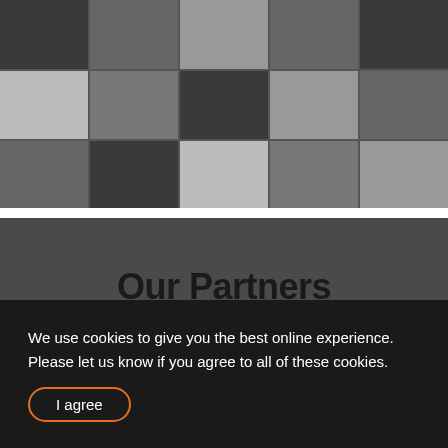[Figure (photo): Black and white photo grid collage showing approximately 15 people in video call/portrait style frames arranged in a 5-column by 3-row grid.]
Our Partners
We partner with best-in-class companies in the global
We use cookies to give you the best online experience. Please let us know if you agree to all of these cookies.
I agree